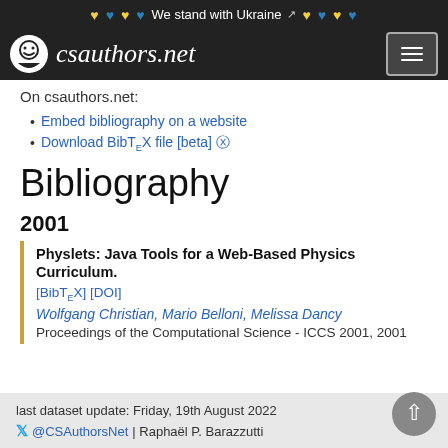♥♥♥♥ We stand with Ukraine ♥♥♥♥
csauthors.net
On csauthors.net:
Embed bibliography on a website
Download BibTeX file [beta]
Bibliography
2001
Physlets: Java Tools for a Web-Based Physics Curriculum. [BibTeX] [DOI]
Wolfgang Christian, Mario Belloni, Melissa Dancy
Proceedings of the Computational Science - ICCS 2001, 2001
last dataset update: Friday, 19th August 2022
🐦 @CSAuthorsNet | Raphaël P. Barazzutti